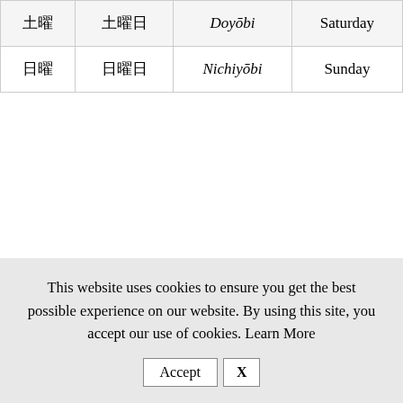| 土曜 | 土曜日 | Doyōbi | Saturday |
| 日曜 | 日曜日 | Nichiyōbi | Sunday |
This website uses cookies to ensure you get the best possible experience on our website. By using this site, you accept our use of cookies. Learn More